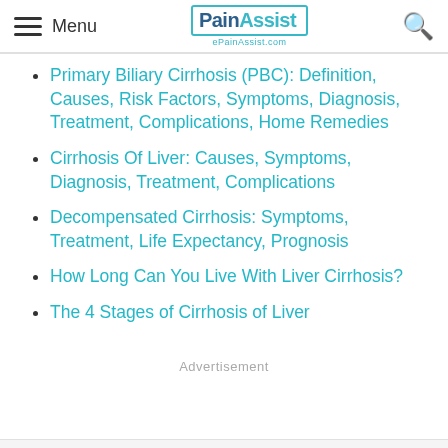Menu | PainAssist | ePainAssist.com
Primary Biliary Cirrhosis (PBC): Definition, Causes, Risk Factors, Symptoms, Diagnosis, Treatment, Complications, Home Remedies
Cirrhosis Of Liver: Causes, Symptoms, Diagnosis, Treatment, Complications
Decompensated Cirrhosis: Symptoms, Treatment, Life Expectancy, Prognosis
How Long Can You Live With Liver Cirrhosis?
The 4 Stages of Cirrhosis of Liver
Advertisement